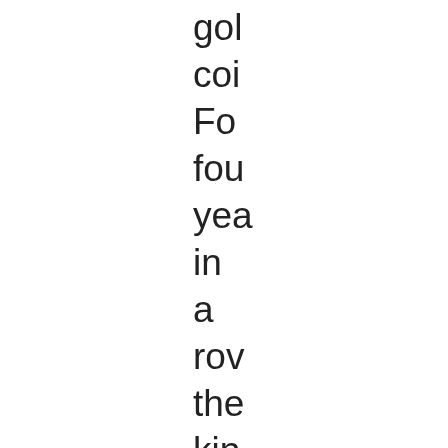gol
coi
Fo
fou
yea
in
a
rov
the
kin
fro
Up
win
ca
the
kin
fro
Do
to
su:
tha
he
is